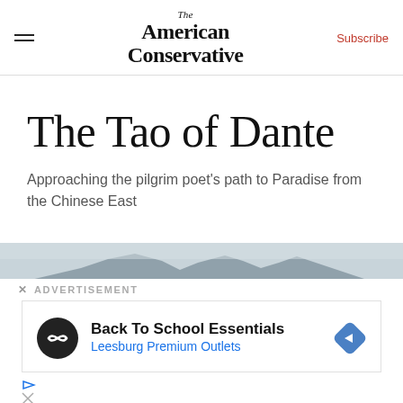The American Conservative | Subscribe
The Tao of Dante
Approaching the pilgrim poet's path to Paradise from the Chinese East
[Figure (photo): Misty mountain landscape with rocky peaks against a grey sky]
× ADVERTISEMENT
[Figure (infographic): Advertisement banner: Back To School Essentials - Leesburg Premium Outlets with navigation icon]